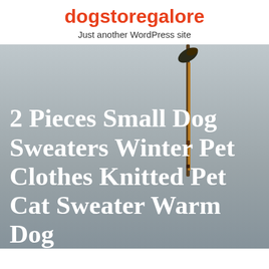dogstoregalore
Just another WordPress site
[Figure (photo): A close-up photo of a dog (or bird) against a grey background, with a dark thin object in the center-right area of the image. Product image for dog sweaters article.]
2 Pieces Small Dog Sweaters Winter Pet Clothes Knitted Pet Cat Sweater Warm Dog